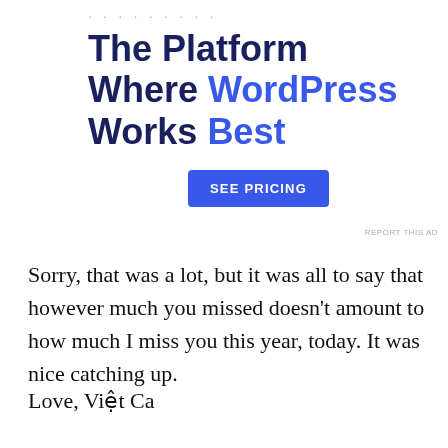. . . . . . . . .
[Figure (infographic): Advertisement banner for a WordPress hosting platform. Large bold heading reads 'The Platform Where WordPress Works Best' with 'WordPress' and 'Best' in blue. A blue 'SEE PRICING' button is shown below.]
REPORT THIS AD
Sorry, that was a lot, but it was all to say that however much you missed doesn't amount to how much I miss you this year, today. It was nice catching up.
Love, Việt Ca